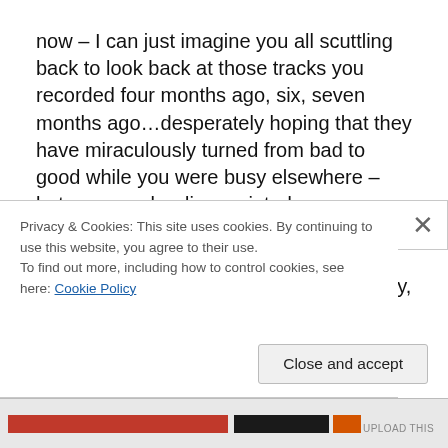now – I can just imagine you all scuttling back to look back at those tracks you recorded four months ago, six, seven months ago…desperately hoping that they have miraculously turned from bad to good while you were busy elsewhere – but you may be disappointed.  or, you may find a hidden gem or two…

I just know that for me, I can often be very, very overcritical
Privacy & Cookies: This site uses cookies. By continuing to use this website, you agree to their use.
To find out more, including how to control cookies, see here: Cookie Policy